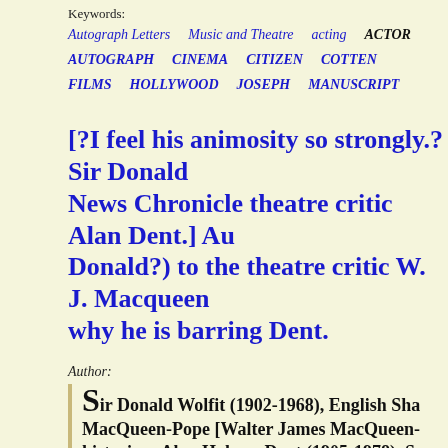Keywords:
Autograph Letters   Music and Theatre   acting   ACTOR   AUTOGRAPH   CINEMA   CITIZEN   COTTEN   FILMS   HOLLYWOOD   JOSEPH   MANUSCRIPT
[?I feel his animosity so strongly.? Sir Donald... News Chronicle theatre critic Alan Dent.] Au... Donald?) to the theatre critic W. J. Macqueen... why he is barring Dent.
Author:
Sir Donald Wolfit (1902-1968), English Sha... MacQueen-Pope [Walter James MacQueen-... historian; Alan Holmes Dent (1905-1978), Sc...
Publication details:
4 November 1948. On his letterhead, from the New Th...
£45.00